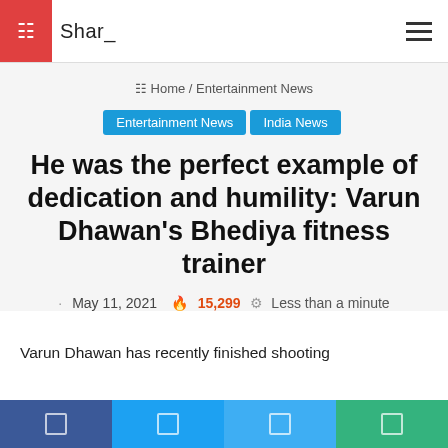Shar_
Home / Entertainment News
Entertainment News  India News
He was the perfect example of dedication and humility: Varun Dhawan’s Bhediya fitness trainer
May 11, 2021 🔥 15,299 ⏱ Less than a minute
Varun Dhawan has recently finished shooting